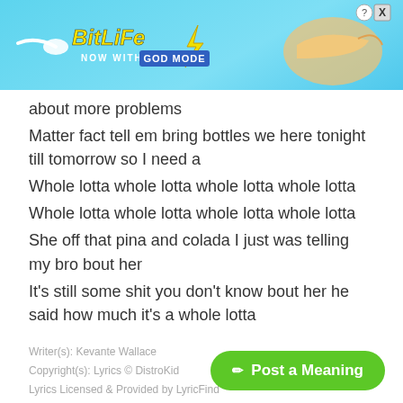[Figure (screenshot): BitLife advertisement banner with 'NOW WITH GOD MODE' text on blue background with hand pointing graphic]
about more problems
Matter fact tell em bring bottles we here tonight till tomorrow so I need a
Whole lotta whole lotta whole lotta whole lotta
Whole lotta whole lotta whole lotta whole lotta
She off that pina and colada I just was telling my bro bout her
It's still some shit you don't know bout her he said how much it's a whole lotta
Writer(s): Kevante Wallace
Copyright(s): Lyrics © DistroKid
Lyrics Licensed & Provided by LyricFind
[Figure (other): Post a Meaning green button with pencil icon]